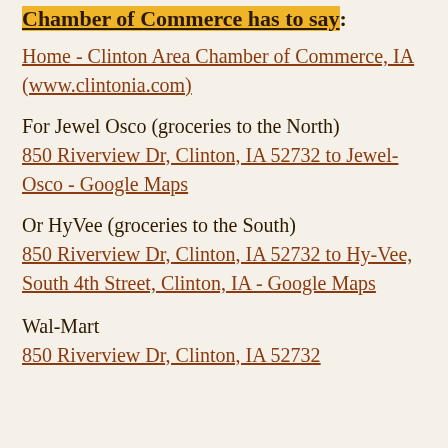Chamber of Commerce has to say:
Home - Clinton Area Chamber of Commerce, IA (www.clintonia.com)
For Jewel Osco (groceries to the North)
850 Riverview Dr, Clinton, IA 52732 to Jewel-Osco - Google Maps
Or HyVee (groceries to the South)
850 Riverview Dr, Clinton, IA 52732 to Hy-Vee, South 4th Street, Clinton, IA - Google Maps
Wal-Mart
850 Riverview Dr, Clinton, IA 52732